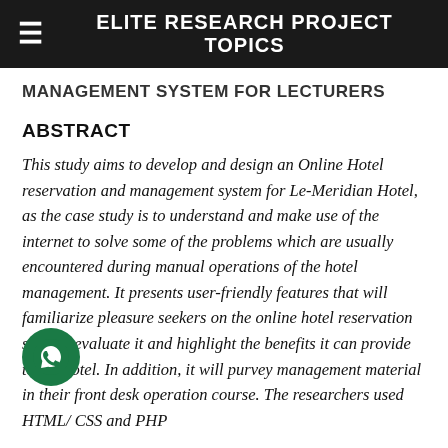ELITE RESEARCH PROJECT TOPICS
MANAGEMENT SYSTEM FOR LECTURERS
ABSTRACT
This study aims to develop and design an Online Hotel reservation and management system for Le-Meridian Hotel, as the case study is to understand and make use of the internet to solve some of the problems which are usually encountered during manual operations of the hotel management. It presents user-friendly features that will familiarize pleasure seekers on the online hotel reservation system, evaluate it and highlight the benefits it can provide to the hotel. In addition, it will purvey management material in their front desk operation course. The researchers used HTML/ CSS and PHP